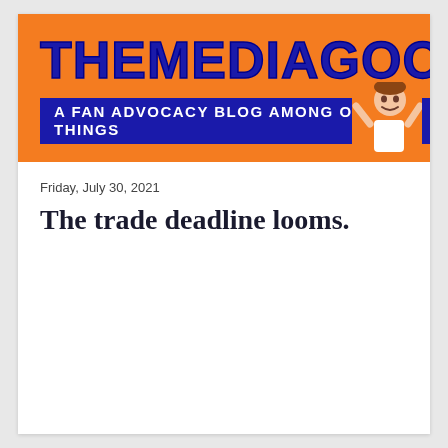[Figure (logo): TheMediaGoon.com website banner — orange background with large dark blue bold text reading THEMEDIAGOON.COM, a dark blue bar with white text reading A FAN ADVOCACY BLOG AMONG OTHER THINGS, and a photo of a man in the top-right corner]
Friday, July 30, 2021
The trade deadline looms.